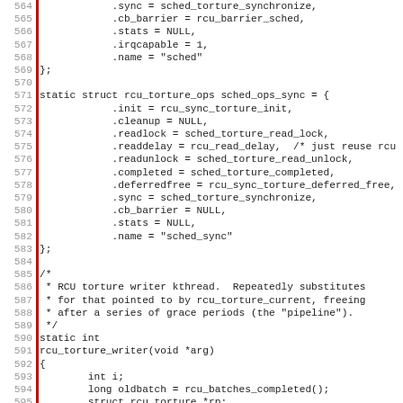[Figure (screenshot): Source code listing in monospace font showing C code lines 564-595 with line numbers in gray on left, a red vertical bar accent, and code text in dark color on white background. Code shows rcu_torture_ops struct definitions and start of rcu_torture_writer function.]